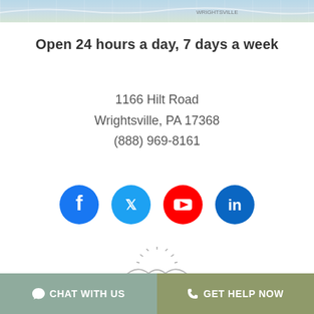[Figure (map): Top strip showing a partial map view with light blue and green tones]
Open 24 hours a day, 7 days a week
1166 Hilt Road
Wrightsville, PA 17368
(888) 969-8161
[Figure (infographic): Row of four social media icons: Facebook (blue), Twitter (light blue), YouTube (red), LinkedIn (dark blue)]
[Figure (logo): The Ranch Pennsylvania logo with sun/mountain graphic and text THE RANCH PENNSYLVANIA]
CHAT WITH US   GET HELP NOW